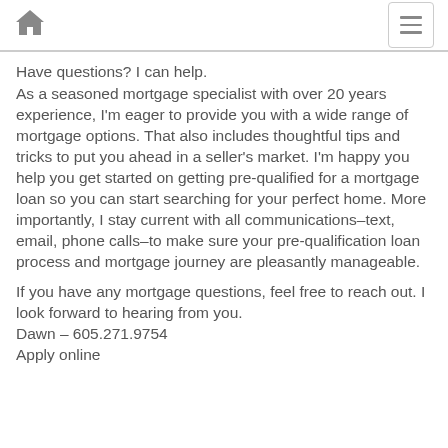Home | Menu
Have questions? I can help.
As a seasoned mortgage specialist with over 20 years experience, I'm eager to provide you with a wide range of mortgage options. That also includes thoughtful tips and tricks to put you ahead in a seller's market. I'm happy you help you get started on getting pre-qualified for a mortgage loan so you can start searching for your perfect home. More importantly, I stay current with all communications–text, email, phone calls–to make sure your pre-qualification loan process and mortgage journey are pleasantly manageable.
If you have any mortgage questions, feel free to reach out. I look forward to hearing from you.
Dawn – 605.271.9754
Apply online